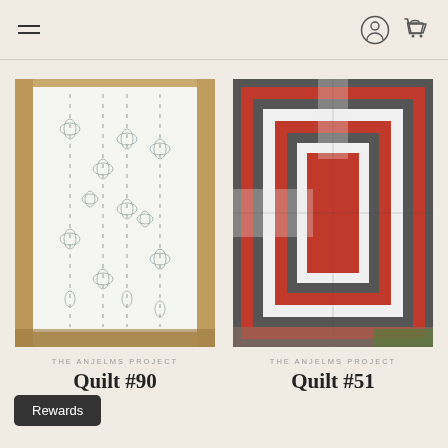Navigation header with hamburger menu and user/cart icons
[Figure (photo): White quilt with grey embroidered floral/botanical pattern hanging outdoors against lattice fence background]
THE ANJELMS PROJECT
Quilt #90
[Figure (photo): Bold geometric quilt in red, grey/charcoal, and white concentric square pattern forming a cross or log-cabin design]
THE ANJELMS PROJECT
Quilt #51
Rewards